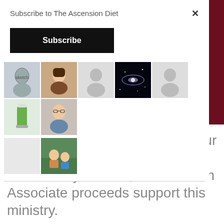Subscribe to The Ascension Diet
Subscribe
[Figure (photo): Row of follower avatar thumbnails including photos of people, a galaxy, a green smoothie, and silhouette placeholders. A second row shows a blank thumbnail and a photo of two children.]
Don’t make your organs filter your drinking water! I recommend this Eco-Worthy Distiller, and Amazon Associate proceeds support this ministry.